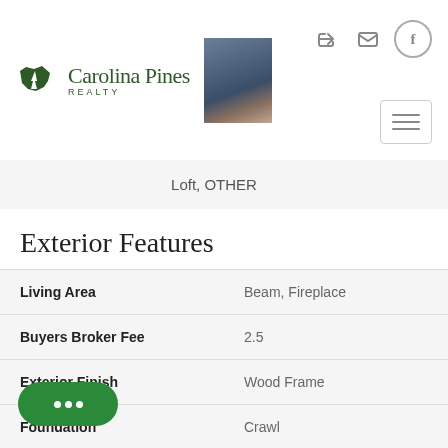[Figure (logo): Carolina Pines Realty logo with South Carolina state outline icon and agent photo]
Loft, OTHER
Exterior Features
| Field | Value |
| --- | --- |
| Living Area | Beam, Fireplace |
| Buyers Broker Fee | 2.5 |
| Exterior Finish | Wood Frame |
| Foundation | Crawl |
| of Acres | 2.5 |